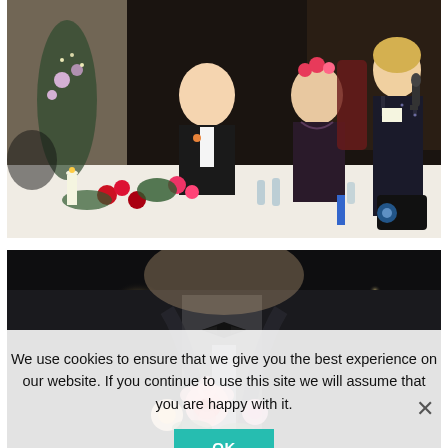[Figure (photo): Wedding reception dinner table scene. A man in a tuxedo and a woman with a flower crown sit at a decorated table with floral arrangements, candles, and glassware. A woman in a black dress stands holding a microphone, giving a speech.]
[Figure (photo): Close-up blurred photo of a person in a dark suit with a bow tie, holding flowers including pink roses, against a dark background with a warm bokeh light.]
We use cookies to ensure that we give you the best experience on our website. If you continue to use this site we will assume that you are happy with it.